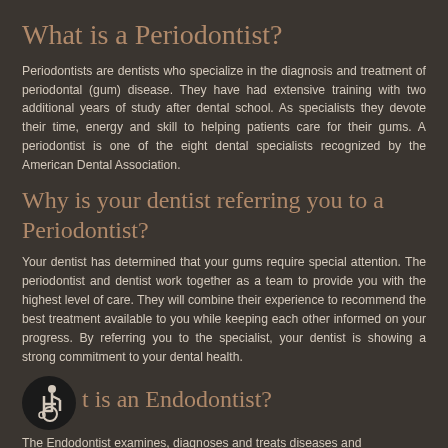What is a Periodontist?
Periodontists are dentists who specialize in the diagnosis and treatment of periodontal (gum) disease. They have had extensive training with two additional years of study after dental school. As specialists they devote their time, energy and skill to helping patients care for their gums. A periodontist is one of the eight dental specialists recognized by the American Dental Association.
Why is your dentist referring you to a Periodontist?
Your dentist has determined that your gums require special attention. The periodontist and dentist work together as a team to provide you with the highest level of care. They will combine their experience to recommend the best treatment available to you while keeping each other informed on your progress. By referring you to the specialist, your dentist is showing a strong commitment to your dental health.
What is an Endodontist?
The Endodontist examines, diagnoses and treats diseases and